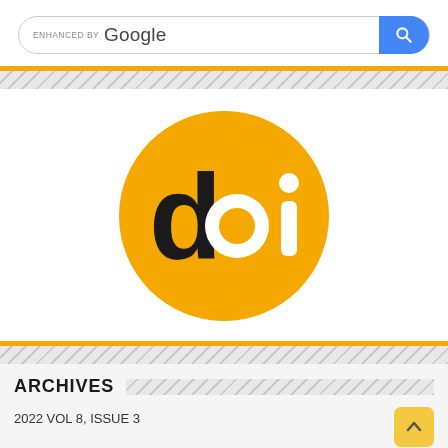[Figure (screenshot): Google enhanced search bar with blue search button]
[Figure (logo): DOI (Digital Object Identifier) logo: orange/amber circle with black 'd', white 'o', and black 'i' text]
ARCHIVES
2022 VOL 8, ISSUE 3